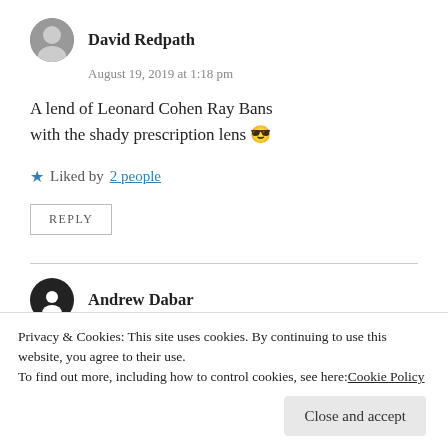David Redpath
August 19, 2019 at 1:18 pm
A lend of Leonard Cohen Ray Bans with the shady prescription lens 😎
★ Liked by 2 people
REPLY
Andrew Dabar
August 20, 2019 at 3:03 am
Privacy & Cookies: This site uses cookies. By continuing to use this website, you agree to their use. To find out more, including how to control cookies, see here: Cookie Policy
Close and accept